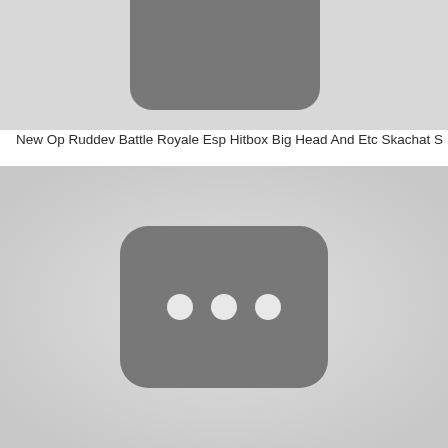[Figure (screenshot): Partially visible YouTube video thumbnail placeholder — grey rounded rectangle on light grey background, cropped at top]
New Op Ruddev Battle Royale Esp Hitbox Big Head And Etc Skachat S
[Figure (screenshot): YouTube video thumbnail placeholder — dark grey rounded rectangle with three white dots (loading indicator) centered on light grey background]